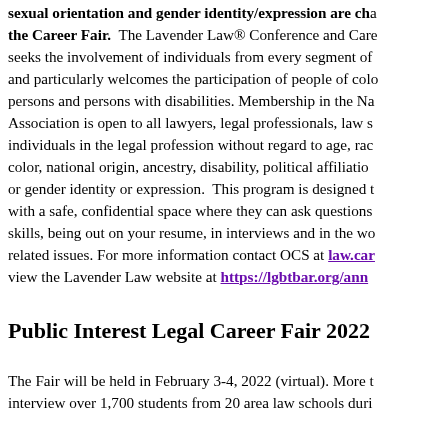sexual orientation and gender identity/expression are cha the Career Fair. The Lavender Law® Conference and Care seeks the involvement of individuals from every segment of and particularly welcomes the participation of people of colo persons and persons with disabilities. Membership in the Na Association is open to all lawyers, legal professionals, law s individuals in the legal profession without regard to age, rac color, national origin, ancestry, disability, political affiliatio or gender identity or expression. This program is designed t with a safe, confidential space where they can ask questions skills, being out on your resume, in interviews and in the wo related issues. For more information contact OCS at law.car view the Lavender Law website at https://lgbtbar.org/ann
Public Interest Legal Career Fair 2022
The Fair will be held in February 3-4, 2022 (virtual). More t interview over 1,700 students from 20 area law schools duri